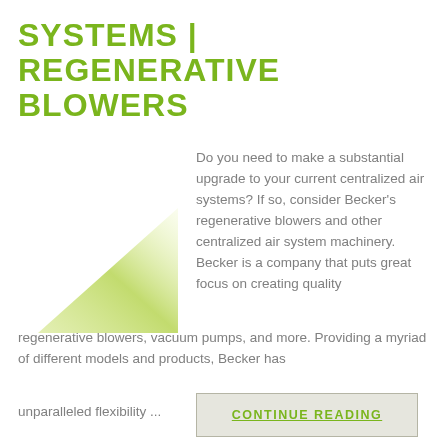SYSTEMS | REGENERATIVE BLOWERS
[Figure (illustration): Green gradient triangle/arrow shape pointing right, decorative graphic element]
Do you need to make a substantial upgrade to your current centralized air systems? If so, consider Becker's regenerative blowers and other centralized air system machinery. Becker is a company that puts great focus on creating quality regenerative blowers, vacuum pumps, and more. Providing a myriad of different models and products, Becker has
unparalleled flexibility ...
CONTINUE READING